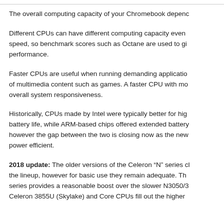The overall computing capacity of your Chromebook depenc
Different CPUs can have different computing capacity even speed, so benchmark scores such as Octane are used to gi performance.
Faster CPUs are useful when running demanding applicatio of multimedia content such as games. A faster CPU with mo overall system responsiveness.
Historically, CPUs made by Intel were typically better for hig battery life, while ARM-based chips offered extended battery however the gap between the two is closing now as the new power efficient.
2018 update: The older versions of the Celeron “N” series cl the lineup, however for basic use they remain adequate. Th series provides a reasonable boost over the slower N3050/3 Celeron 3855U (Skylake) and Core CPUs fill out the higher